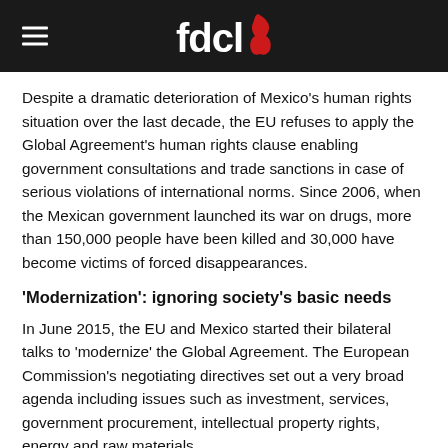fdcl
Despite a dramatic deterioration of Mexico's human rights situation over the last decade, the EU refuses to apply the Global Agreement's human rights clause enabling government consultations and trade sanctions in case of serious violations of international norms. Since 2006, when the Mexican government launched its war on drugs, more than 150,000 people have been killed and 30,000 have become victims of forced disappearances.
'Modernization': ignoring society's basic needs
In June 2015, the EU and Mexico started their bilateral talks to 'modernize' the Global Agreement. The European Commission's negotiating directives set out a very broad agenda including issues such as investment, services, government procurement, intellectual property rights, energy and raw materials.
Seed and pesticide industry: threatening diversity